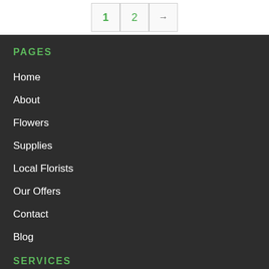1  2  →
PAGES
Home
About
Flowers
Supplies
Local Florists
Our Offers
Contact
Blog
SERVICES